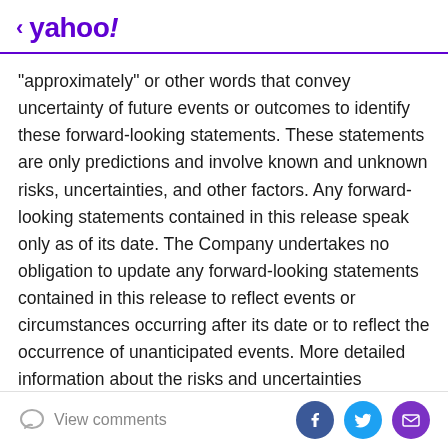< yahoo!
"approximately" or other words that convey uncertainty of future events or outcomes to identify these forward-looking statements. These statements are only predictions and involve known and unknown risks, uncertainties, and other factors. Any forward-looking statements contained in this release speak only as of its date. The Company undertakes no obligation to update any forward-looking statements contained in this release to reflect events or circumstances occurring after its date or to reflect the occurrence of unanticipated events. More detailed information about the risks and uncertainties affecting the Company is contained under the heading "Risk Factors" in the Company's Registration
View comments